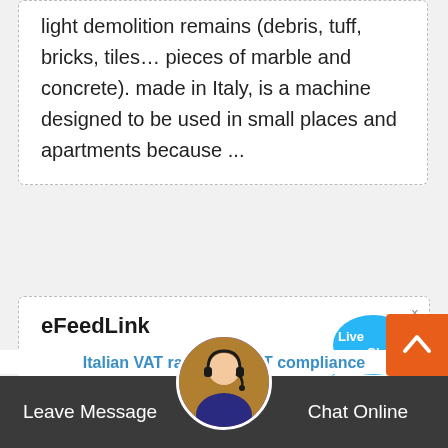light demolition remains (debris, tuff, bricks, tiles… pieces of marble and concrete). made in Italy, is a machine designed to be used in small places and apartments because ...
eFeedLink
2011-4-11 · Bunge sells soy crushing plant in Italy. Bunge has sold its crushing plant near Venice in Italy to Cereal Docks, which aims to… become Italy"s leader in soy processing. The plant, located in the industrial area of Marghera near Venice, can process 420,000 tonnes of soy a
Italian VAT rates and VAT compliance
Leave Message
Chat Online